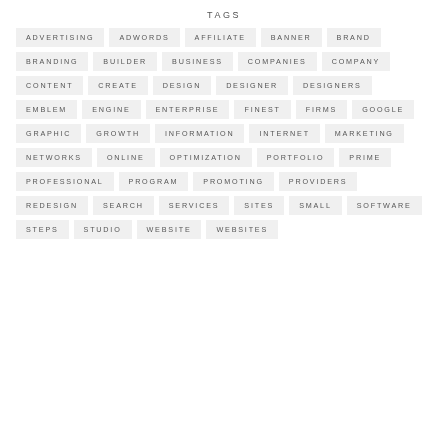TAGS
ADVERTISING
ADWORDS
AFFILIATE
BANNER
BRAND
BRANDING
BUILDER
BUSINESS
COMPANIES
COMPANY
CONTENT
CREATE
DESIGN
DESIGNER
DESIGNERS
EMBLEM
ENGINE
ENTERPRISE
FINEST
FIRMS
GOOGLE
GRAPHIC
GROWTH
INFORMATION
INTERNET
MARKETING
NETWORKS
ONLINE
OPTIMIZATION
PORTFOLIO
PRIME
PROFESSIONAL
PROGRAM
PROMOTING
PROVIDERS
REDESIGN
SEARCH
SERVICES
SITES
SMALL
SOFTWARE
STEPS
STUDIO
WEBSITE
WEBSITES